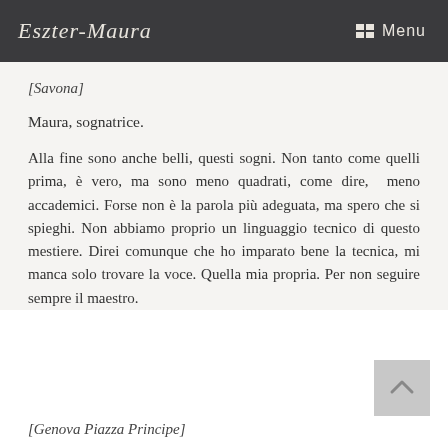Eszter-Maura  Menu
[Savona]
Maura, sognatrice.
Alla fine sono anche belli, questi sogni. Non tanto come quelli prima, è vero, ma sono meno quadrati, come dire,  meno accademici. Forse non è la parola più adeguata, ma spero che si spieghi. Non abbiamo proprio un linguaggio tecnico di questo mestiere. Direi comunque che ho imparato bene la tecnica, mi manca solo trovare la voce. Quella mia propria. Per non seguire sempre il maestro.
[Genova Piazza Principe]